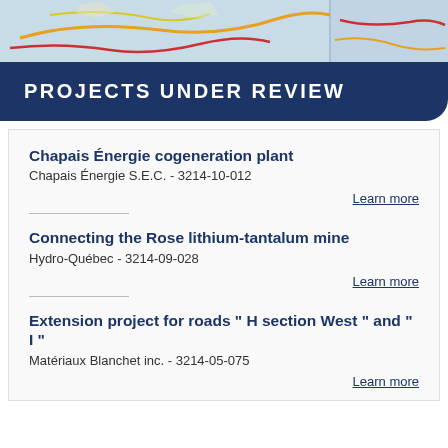[Figure (map): Partial map showing road network with colored routes (orange, red) on a light blue background, divided into two panels]
PROJECTS UNDER REVIEW
Chapais Énergie cogeneration plant
Chapais Énergie S.E.C. - 3214-10-012
Learn more
Connecting the Rose lithium-tantalum mine
Hydro-Québec - 3214-09-028
Learn more
Extension project for roads " H section West " and " I "
Matériaux Blanchet inc. - 3214-05-075
Learn more